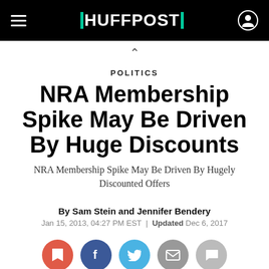HUFFPOST
POLITICS
NRA Membership Spike May Be Driven By Huge Discounts
NRA Membership Spike May Be Driven By Hugely Discounted Offers
By Sam Stein and Jennifer Bendery
Jan 15, 2013, 04:27 PM EST | Updated Dec 6, 2017
[Figure (infographic): Social sharing icons: bookmark (red), Facebook (dark blue), Twitter (light blue), email (gray), comment (light gray)]